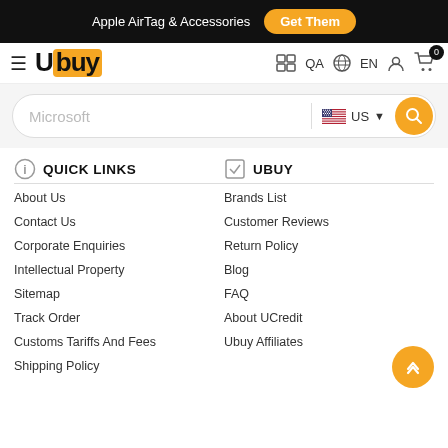Apple AirTag & Accessories  Get Them
[Figure (logo): Ubuy logo with hamburger menu and nav icons: QA, EN, user, cart(0)]
[Figure (screenshot): Search bar with 'Microsoft' placeholder, US flag, search button]
QUICK LINKS
About Us
Contact Us
Corporate Enquiries
Intellectual Property
Sitemap
Track Order
Customs Tariffs And Fees
Shipping Policy
UBUY
Brands List
Customer Reviews
Return Policy
Blog
FAQ
About UCredit
Ubuy Affiliates